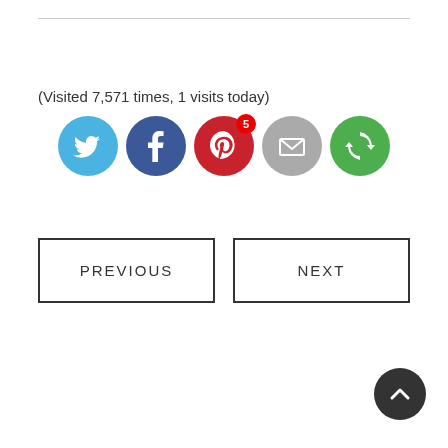(Visited 7,571 times, 1 visits today)
[Figure (infographic): Social sharing icons: Twitter (blue bird), Facebook (blue f), Pinterest (red P with badge showing 5), Email (grey envelope), Subscribe (green circular arrows)]
PREVIOUS
NEXT
[Figure (other): Back to top button: dark circular button with upward chevron arrow]